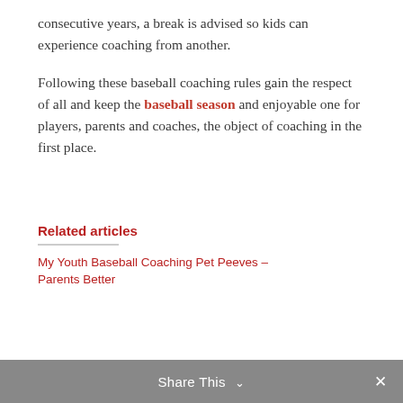consecutive years, a break is advised so kids can experience coaching from another.
Following these baseball coaching rules gain the respect of all and keep the baseball season and enjoyable one for players, parents and coaches, the object of coaching in the first place.
Related articles
My Youth Baseball Coaching Pet Peeves – Parents Better
Share This  ✕